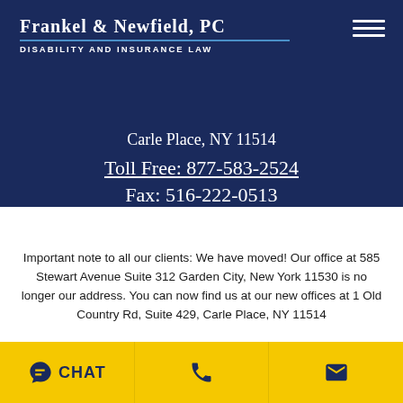Frankel & Newfield, PC — Disability and Insurance Law
Carle Place, NY 11514
Toll Free: 877-583-2524
Fax: 516-222-0513
Map & Directions
Important note to all our clients: We have moved! Our office at 585 Stewart Avenue Suite 312 Garden City, New York 11530 is no longer our address. You can now find us at our new offices at 1 Old Country Rd, Suite 429, Carle Place, NY 11514
Companies
CHAT
[Figure (other): Bottom navigation bar with Chat, Phone, and Email icons on yellow background]